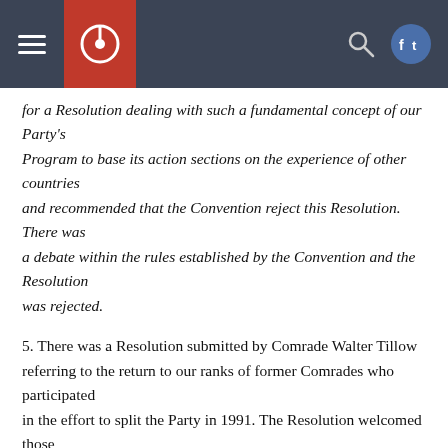[navigation header with logo and icons]
for a Resolution dealing with such a fundamental concept of our Party's
Program to base its action sections on the experience of other countries
and recommended that the Convention reject this Resolution. There was
a debate within the rules established by the Convention and the Resolution
was rejected.
5. There was a Resolution submitted by Comrade Walter Tillow referring to the return to our ranks of former Comrades who participated
in the effort to split the Party in 1991. The Resolution welcomed those
who have returned and the discussions that have been held with former